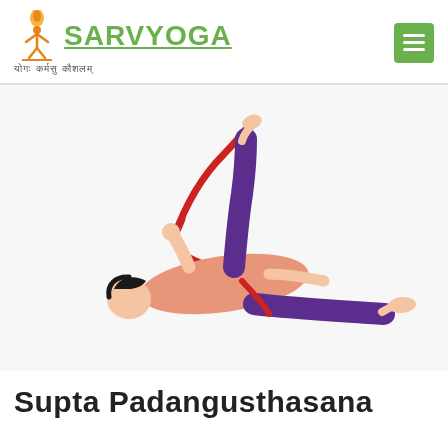SARVYOGA — योगः कर्मसु कौशलम्
[Figure (illustration): Illustration of a person performing Supta Padangusthasana (reclining hand-to-big-toe pose) lying on their back, one leg raised and held with a red strap/belt, wearing purple pants and a pink top.]
Supta Padangusthasana